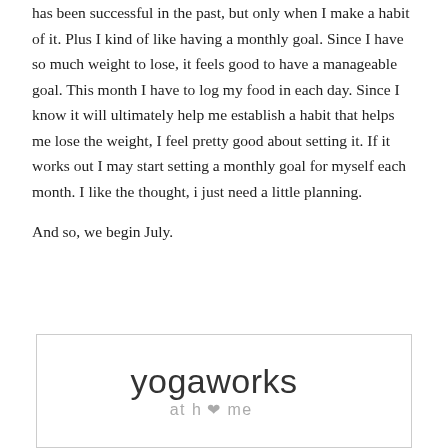has been successful in the past, but only when I make a habit of it. Plus I kind of like having a monthly goal. Since I have so much weight to lose, it feels good to have a manageable goal. This month I have to log my food in each day. Since I know it will ultimately help me establish a habit that helps me lose the weight, I feel pretty good about setting it. If it works out I may start setting a monthly goal for myself each month. I like the thought, i just need a little planning.

And so, we begin July.
[Figure (logo): YogaWorks at home logo inside a rectangular border. Text reads 'yogaworks' in large light font with 'at home' below in smaller gray text with a heart symbol replacing the 'o' in home.]